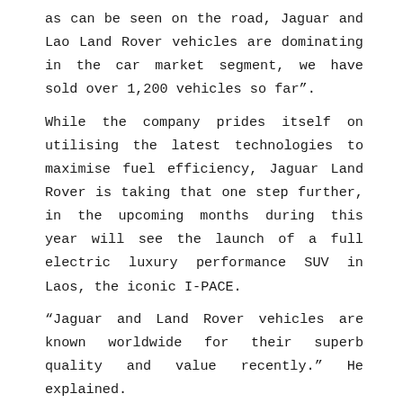as can be seen on the road, Jaguar and Lao Land Rover vehicles are dominating in the car market segment, we have sold over 1,200 vehicles so far”.
While the company prides itself on utilising the latest technologies to maximise fuel efficiency, Jaguar Land Rover is taking that one step further, in the upcoming months during this year will see the launch of a full electric luxury performance SUV in Laos, the iconic I-PACE.
“Jaguar and Land Rover vehicles are known worldwide for their superb quality and value recently.” He explained.
Laos drivers have shown a great deal of interest and are eager to snatch up these quintessentially built British luxury machines.
In 1948, the Land Rover took the world by storm with